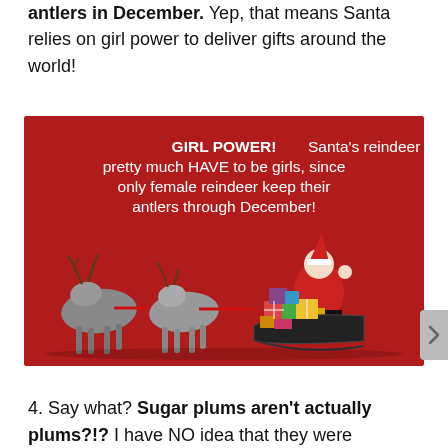antlers in December. Yep, that means Santa relies on girl power to deliver gifts around the world!
[Figure (illustration): Red background card with white text reading 'GIRL POWER! Santa's reindeer pretty much HAVE to be girls, since only female reindeer keep their antlers through December!' with an illustration of reindeer pulling Santa's sleigh loaded with gifts.]
4. Say what? Sugar plums aren't actually plums?!? I have NO idea that they were